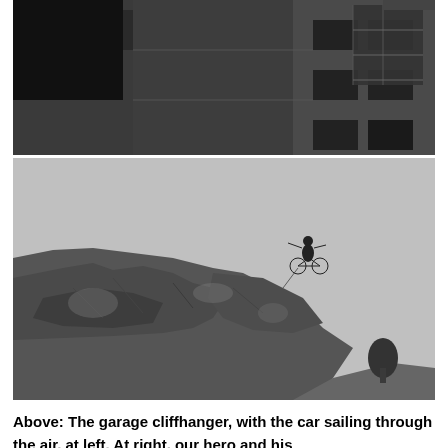[Figure (photo): Black and white film still showing the exterior of a tall building from a low angle. A fire escape or balcony structure is visible on the right side of the building facade.]
[Figure (photo): Black and white film still showing a dramatic rocky cliff face from below. A figure (person on bicycle) is visible airborne in the sky above the cliff, appearing to have sailed off the edge.]
Above: The garage cliffhanger, with the car sailing through the air, at left. At right, our hero and his